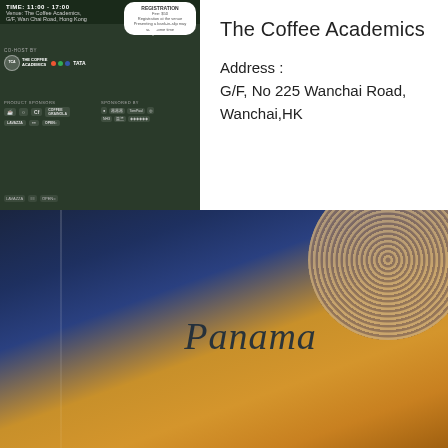[Figure (infographic): Event flyer showing co-hosts The Coffee Academics and Tata, with product sponsors and registration info speech bubble, on dark green background]
The Coffee Academics
Address :
G/F, No 225 Wanchai Road, Wanchai,HK
[Figure (photo): Close-up photo of a yellow/gold coffee bag with the word 'Panama' written in cursive script, with a cymbal or drum visible in the dark blue background upper right]